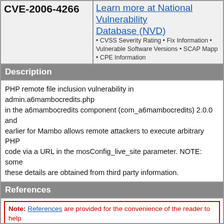CVE-2006-4266
Learn more at National Vulnerability Database (NVD) • CVSS Severity Rating • Fix Information • Vulnerable Software Versions • SCAP Mappings • CPE Information
Description
PHP remote file inclusion vulnerability in admin.a6mambocredits.php in the a6mambocredits component (com_a6mambocredits) 2.0.0 and earlier for Mambo allows remote attackers to execute arbitrary PHP code via a URL in the mosConfig_live_site parameter. NOTE: some these details are obtained from third party information.
References
Note: References are provided for the convenience of the reader to help distinguish between vulnerabilities. The list is not intended to be complete.
BID:19581
URL:http://www.securityfocus.com/bid/19581
EXPLOIT-DB:2207
URL:https://www.exploit-db.com/exploits/2207
OSVDB:27991
URL:http://www.osvdb.org/27991
SECTRACK:1016716
URL:http://securitytracker.com/id?1016716